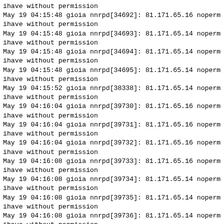ihave without permission
May 19 04:15:48 gioia nnrpd[34692]: 81.171.65.16 noperm
ihave without permission
May 19 04:15:48 gioia nnrpd[34693]: 81.171.65.14 noperm
ihave without permission
May 19 04:15:48 gioia nnrpd[34694]: 81.171.65.14 noperm
ihave without permission
May 19 04:15:48 gioia nnrpd[34695]: 81.171.65.14 noperm
ihave without permission
May 19 04:15:52 gioia nnrpd[38338]: 81.171.65.14 noperm
ihave without permission
May 19 04:16:04 gioia nnrpd[39730]: 81.171.65.16 noperm
ihave without permission
May 19 04:16:04 gioia nnrpd[39731]: 81.171.65.16 noperm
ihave without permission
May 19 04:16:04 gioia nnrpd[39732]: 81.171.65.16 noperm
ihave without permission
May 19 04:16:08 gioia nnrpd[39733]: 81.171.65.16 noperm
ihave without permission
May 19 04:16:08 gioia nnrpd[39734]: 81.171.65.14 noperm
ihave without permission
May 19 04:16:08 gioia nnrpd[39735]: 81.171.65.14 noperm
ihave without permission
May 19 04:16:08 gioia nnrpd[39736]: 81.171.65.14 noperm
ihave without permission
May 19 04:16:12 gioia nnrpd[39742]: 81.171.65.14 noperm
ihave without permission
May 19 04:16:24 gioia nnrpd[40138]: 81.171.65.16 noperm
ihave without permission
May 19 04:16:24 gioia nnrpd[40139]: 81.171.65.16 noperm
ihave without permission